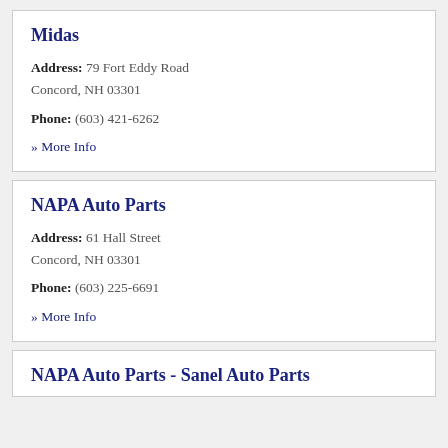Midas
Address: 79 Fort Eddy Road
Concord, NH 03301
Phone: (603) 421-6262
» More Info
NAPA Auto Parts
Address: 61 Hall Street
Concord, NH 03301
Phone: (603) 225-6691
» More Info
NAPA Auto Parts - Sanel Auto Parts